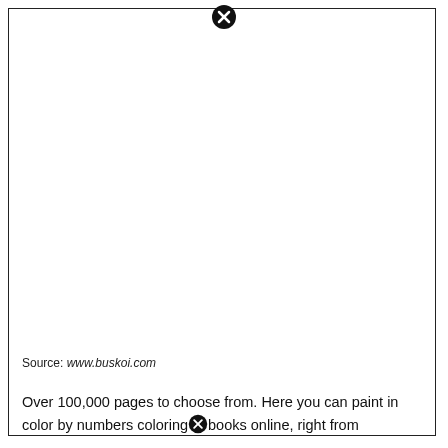[Figure (other): A bordered white rectangular area (image placeholder) with a close/error icon at the top center]
Source: www.buskoi.com
Over 100,000 pages to choose from. Here you can paint in color by numbers coloring books online, right from